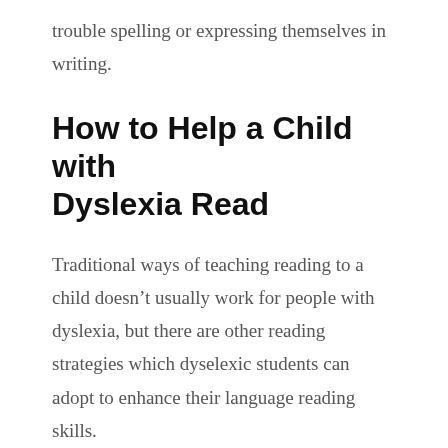trouble spelling or expressing themselves in writing.
How to Help a Child with Dyslexia Read
Traditional ways of teaching reading to a child doesn’t usually work for people with dyslexia, but there are other reading strategies which dyselexic students can adopt to enhance their language reading skills.
Since students with dyslexia respond better with visual methods of teaching, online reading programs can lead to better understanding and